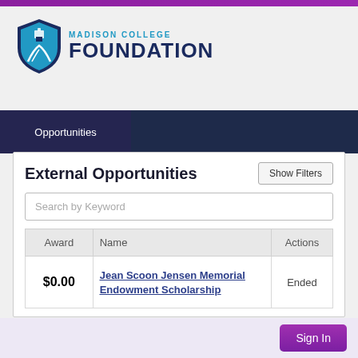[Figure (logo): Madison College Foundation logo with shield icon and text]
Opportunities
External Opportunities
Show Filters
Search by Keyword
| Award | Name | Actions |
| --- | --- | --- |
| $0.00 | Jean Scoon Jensen Memorial Endowment Scholarship | Ended |
Sign In